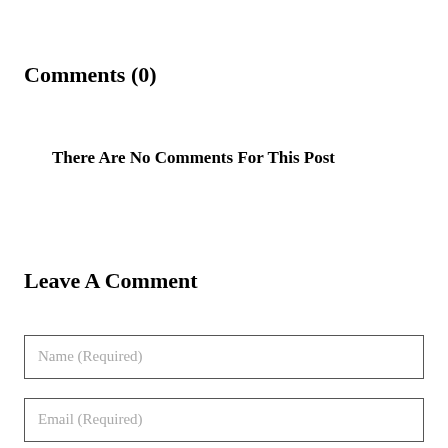Comments (0)
There Are No Comments For This Post
Leave A Comment
Name (Required)
Email (Required)